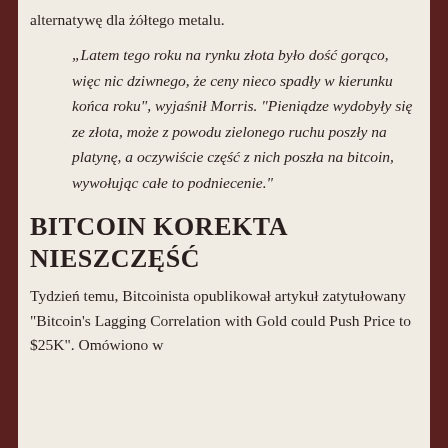alternatywę dla żółtego metalu.
“Latem tego roku na rynku złota było dość gorąco, więc nic dziwnego, że ceny nieco spadły w kierunku końca roku”, wyjaśnił Morris. “Pieniądze wydobyły się ze złota, może z powodu zielonego ruchu poszły na platynę, a oczywiście część z nich poszła na bitcoin, wywołując całe to podniecenie.”
BITCOIN KOREKTA NIESZCZĘŚĆ
Tydzień temu, Bitcoinista opublikował artykuł zatytułowany “Bitcoin’s Lagging Correlation with Gold could Push Price to $25K”. Omówiono w